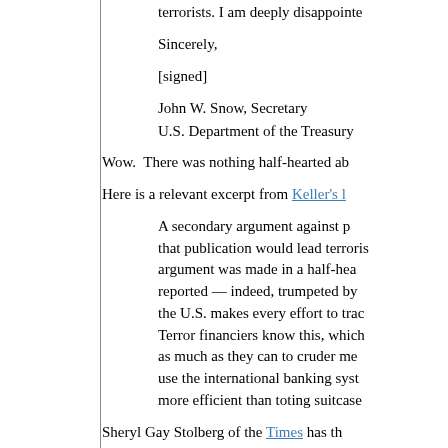terrorists. I am deeply disappointe
Sincerely,
[signed]
John W. Snow, Secretary
U.S. Department of the Treasury
Wow.  There was nothing half-hearted ab
Here is a relevant excerpt from Keller's l
A secondary argument against p that publication would lead terroris argument was made in a half-hea reported — indeed, trumpeted by the U.S. makes every effort to trac Terror financiers know this, which as much as they can to cruder me use the international banking syst more efficient than toting suitcase
Sheryl Gay Stolberg of the Times has th story in which her newspaper is describe is the WaPo version.
A sts "What Can We Tell" The s